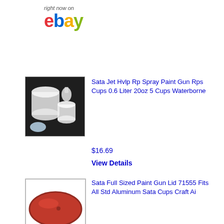[Figure (logo): eBay logo with 'right now on' text above]
[Figure (photo): Spray paint gun cups, white plastic cups stacked]
Sata Jet Hvlp Rp Spray Paint Gun Rps Cups 0.6 Liter 20oz 5 Cups Waterborne
$16.69
View Details
[Figure (photo): Red oval paint gun lid on white background]
Sata Full Sized Paint Gun Lid 71555 Fits All Std Aluminum Sata Cups Craft Ai
$10.00
View Details
[Figure (photo): Sata fluid tip seal product packaging, gray background]
Sata Fluid Tip Seal 140582 X5500 5000 4000 1000 100 Spray Paint Gun Hvlp Rp